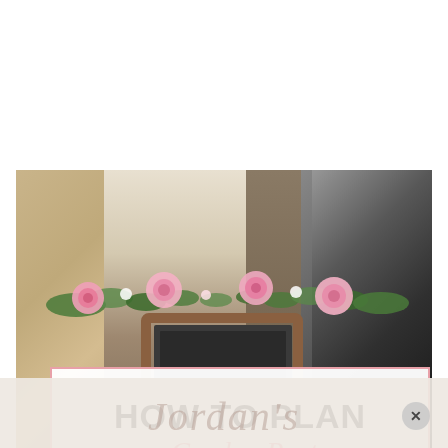[Figure (photo): Garden party scene: stone wall on left, wooden door in center, decorative iron element on right, chalkboard sign with pink roses and greenery garland in foreground. White overlay box with title text. Bottom section shows partial script watermark/logo. Close (X) button bottom right.]
HOW TO PLAN a Garden Party YOUR STEP-BY-STEP GUIDE